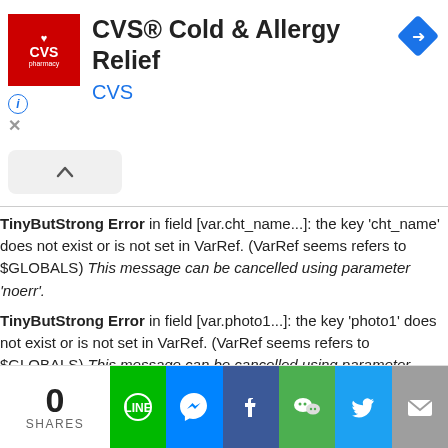[Figure (screenshot): CVS Pharmacy advertisement banner showing CVS Cold & Allergy Relief product with CVS logo and navigation arrow icon]
TinyButStrong Error in field [var.cht_name...]: the key 'cht_name' does not exist or is not set in VarRef. (VarRef seems refers to $GLOBALS) This message can be cancelled using parameter 'noerr'.
TinyButStrong Error in field [var.photo1...]: the key 'photo1' does not exist or is not set in VarRef. (VarRef seems refers to $GLOBALS) This message can be cancelled using parameter 'noerr'.
TinyButStrong Error in field [var.cht_name...]: the key 'cht_name' does not exist or is not set in VarRef. (VarRef seems refers to $GLOBALS) This message can be cancelled using parameter 'noerr'.
TinyButStrong Error in field [var.photo1...]: the key 'photo1' does not exist or
[Figure (screenshot): Social sharing bar with 0 shares count and buttons for Line, Messenger, Facebook, WeChat, Twitter, and Email]